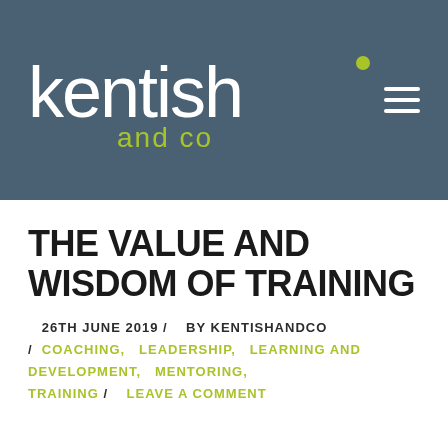[Figure (logo): Kentish and Co logo — white lowercase 'kentish' text with a green dot above the 'i', and 'and co' in green below, on a dark slate-blue background with a hamburger menu icon top right]
THE VALUE AND WISDOM OF TRAINING
26TH JUNE 2019 /   BY KENTISHANDCO /   COACHING,   LEADERSHIP,   LEARNING AND DEVELOPMENT,   MENTORING,   TRAINING /     LEAVE A COMMENT